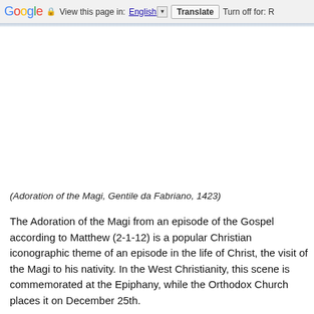Google  View this page in: English [▼]  Translate  Turn off for: R
[Figure (other): White/blank image area representing the Adoration of the Magi painting]
(Adoration of the Magi, Gentile da Fabriano, 1423)
The Adoration of the Magi from an episode of the Gospel according to Matthew (2-1-12) is a popular Christian iconographic theme of an episode in the life of Christ, the visit of the Magi to his nativity. In the West Christianity, this scene is commemorated at the Epiphany, while the Orthodox Church places it on December 25th.